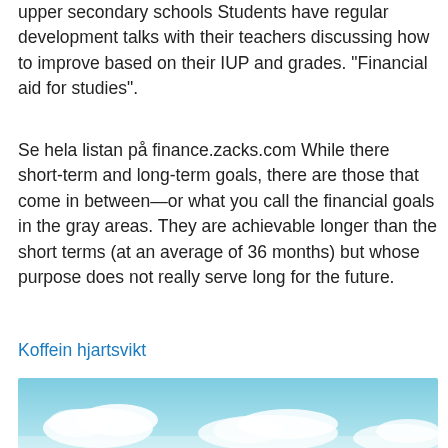upper secondary schools Students have regular development talks with their teachers discussing how to improve based on their IUP and grades. "Financial aid for studies".
Se hela listan på finance.zacks.com While there short-term and long-term goals, there are those that come in between—or what you call the financial goals in the gray areas. They are achievable longer than the short terms (at an average of 36 months) but whose purpose does not really serve long for the future.
Koffein hjartsvikt
[Figure (photo): Photo of a sky with white clouds on a light blue background, partially visible at the bottom of the page.]